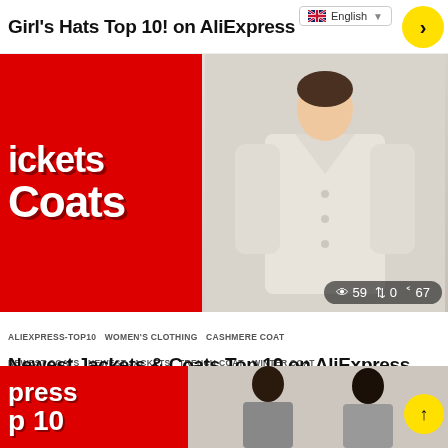Girl's Hats Top 10! on AliExpress
[Figure (photo): Red background thumbnail with white bold text 'Jackets' and 'Coats' on left, person wearing beige/cream puffer coat on right. Stats bar shows: eye icon 59, arrows icon 0, share icon 67]
ALIEXPRESS-TOP10  WOMEN'S CLOTHING  CASHMERE COAT  NEWEST COATS  NEWEST JACKETS  TRENCH COAT  WINTER COAT  WOMEN PARKAS
Newest Jackets & Coats Top 10 on AliExpress
by vizyco 6 months ago
[Figure (photo): Partial thumbnail visible at bottom: red background with white bold text 'press' and 'p 10' on left, two women visible on right side]